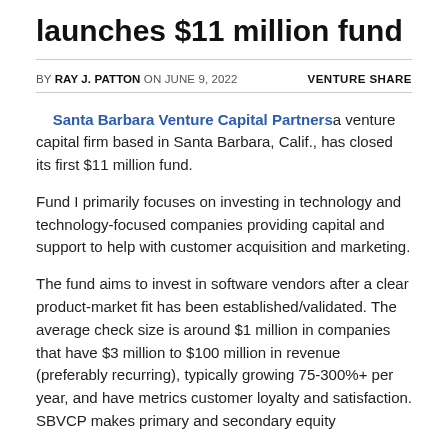launches $11 million fund
BY RAY J. PATTON ON JUNE 9, 2022    VENTURE SHARE
Santa Barbara Venture Capital Partners a venture capital firm based in Santa Barbara, Calif., has closed its first $11 million fund.
Fund I primarily focuses on investing in technology and technology-focused companies providing capital and support to help with customer acquisition and marketing.
The fund aims to invest in software vendors after a clear product-market fit has been established/validated. The average check size is around $1 million in companies that have $3 million to $100 million in revenue (preferably recurring), typically growing 75-300%+ per year, and have metrics customer loyalty and satisfaction. SBVCP makes primary and secondary equity...